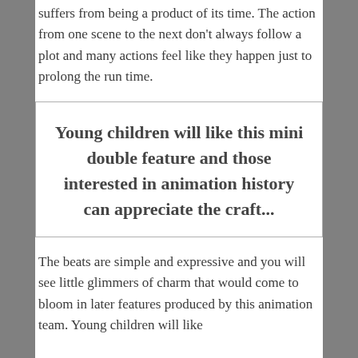suffers from being a product of its time. The action from one scene to the next don't always follow a plot and many actions feel like they happen just to prolong the run time.
Young children will like this mini double feature and those interested in animation history can appreciate the craft...
The beats are simple and expressive and you will see little glimmers of charm that would come to bloom in later features produced by this animation team. Young children will like